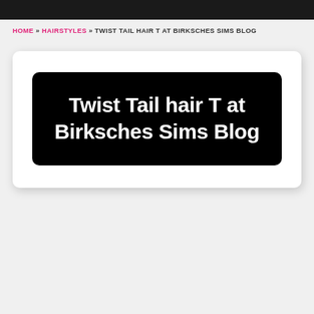HOME » HAIRSTYLES » TWIST TAIL HAIR T AT BIRKSCHES SIMS BLOG
Twist Tail hair T at Birksches Sims Blog